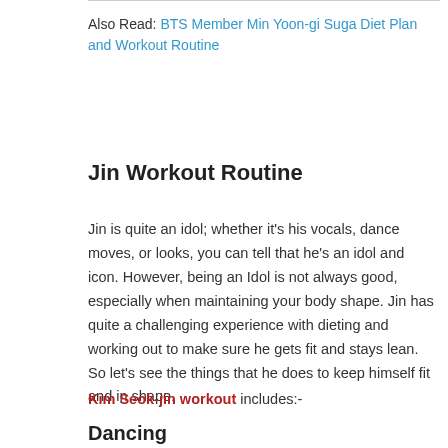Also Read: BTS Member Min Yoon-gi Suga Diet Plan and Workout Routine
Jin Workout Routine
Jin is quite an idol; whether it’s his vocals, dance moves, or looks, you can tell that he’s an idol and icon. However, being an Idol is not always good, especially when maintaining your body shape. Jin has quite a challenging experience with dieting and working out to make sure he gets fit and stays lean. So let’s see the things that he does to keep himself fit and in shape.
Kim Seok-jin workout includes:-
Dancing